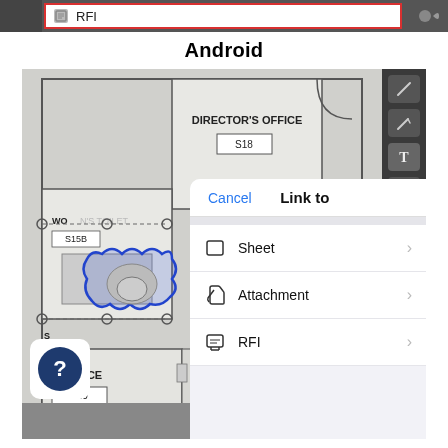[Figure (screenshot): Top bar showing RFI label with red border highlight, gray toolbar segments on left and right]
Android
[Figure (screenshot): Android tablet screenshot showing a building floor plan with a blue scalloped annotation highlighting a toilet room area. A 'Link to' dialog is overlaid showing options: Sheet, Attachment, RFI with Cancel button. Right side shows a vertical toolbar. Bottom shows navigation arrows and a help button.]